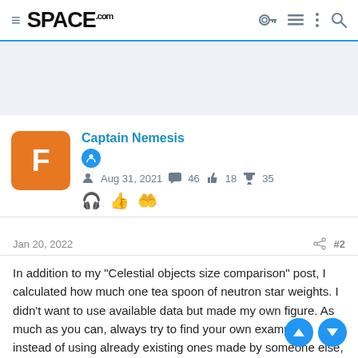SPACE.com
[Figure (other): Advertisement placeholder area, light blue-grey background]
Captain Nemesis
Aug 31, 2021  46  18  35
Jan 20, 2022  #2
In addition to my "Celestial objects size comparison" post, I calculated how much one tea spoon of neutron star weights. I didn't want to use available data but made my own figure. As much as you can, always try to find your own example, instead of using already existing ones made by someone else, because in that way you will remember better.